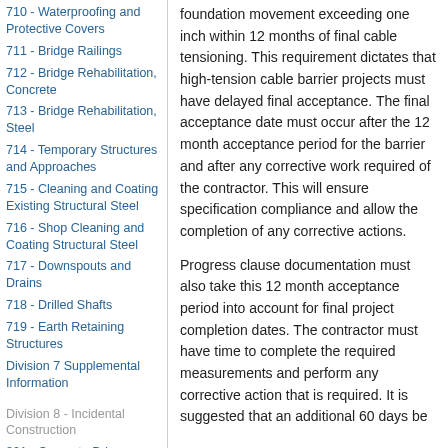710 - Waterproofing and Protective Covers
711 - Bridge Railings
712 - Bridge Rehabilitation, Concrete
713 - Bridge Rehabilitation, Steel
714 - Temporary Structures and Approaches
715 - Cleaning and Coating Existing Structural Steel
716 - Shop Cleaning and Coating Structural Steel
717 - Downspouts and Drains
718 - Drilled Shafts
719 - Earth Retaining Structures
Division 7 Supplemental Information
Division 8 - Incidental Construction
801 - Concrete Drive
foundation movement exceeding one inch within 12 months of final cable tensioning. This requirement dictates that high-tension cable barrier projects must have delayed final acceptance. The final acceptance date must occur after the 12 month acceptance period for the barrier and after any corrective work required of the contractor. This will ensure specification compliance and allow the completion of any corrective actions.
Progress clause documentation must also take this 12 month acceptance period into account for final project completion dates. The contractor must have time to complete the required measurements and perform any corrective action that is required. It is suggested that an additional 60 days be